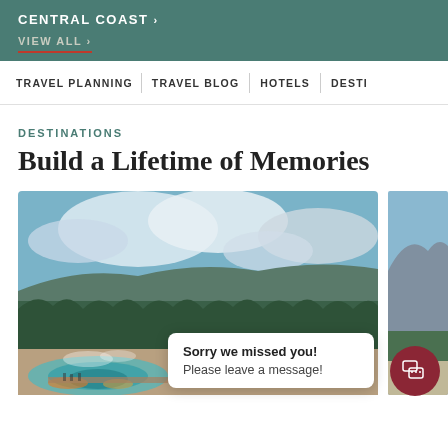CENTRAL COAST > VIEW ALL >
TRAVEL PLANNING | TRAVEL BLOG | HOTELS | DESTI
DESTINATIONS
Build a Lifetime of Memories
[Figure (photo): Aerial landscape photo showing a vast forested area with blue sky and clouds, geothermal features with colorful hot spring in foreground (likely Yellowstone National Park)]
[Figure (photo): Partial right-edge photo of a coastal or mountainous scene]
Sorry we missed you! Please leave a message!